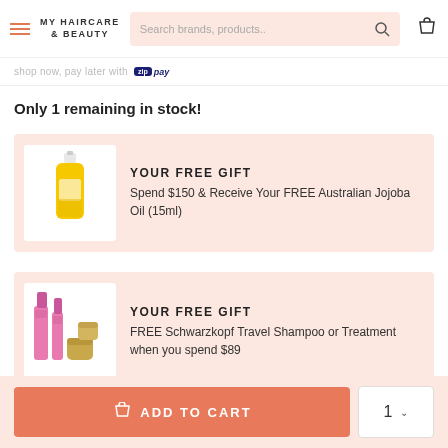MY HAIRCARE & BEAUTY — Search brands, products..
Only 1 remaining in stock!
YOUR FREE GIFT
Spend $150 & Receive Your FREE Australian Jojoba Oil (15ml)
YOUR FREE GIFT
FREE Schwarzkopf Travel Shampoo or Treatment when you spend $89
ADD TO CART  1